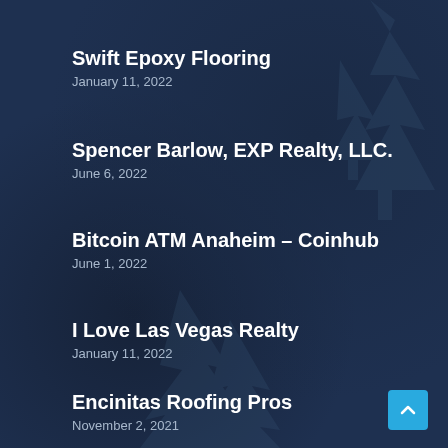Swift Epoxy Flooring
January 11, 2022
Spencer Barlow, EXP Realty, LLC.
June 6, 2022
Bitcoin ATM Anaheim – Coinhub
June 1, 2022
I Love Las Vegas Realty
January 11, 2022
Encinitas Roofing Pros
November 2, 2021